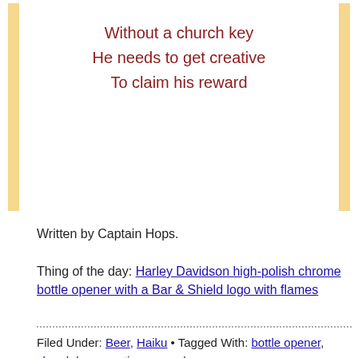Without a church key
He needs to get creative
To claim his reward
Written by Captain Hops.
Thing of the day: Harley Davidson high-polish chrome bottle opener with a Bar & Shield logo with flames
Filed Under: Beer, Haiku • Tagged With: bottle opener, church key, creative, reward
Or Three Or Four